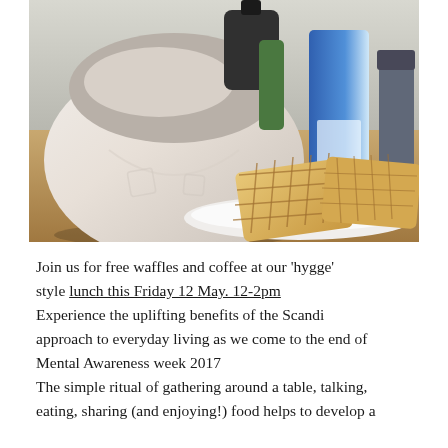[Figure (photo): A kitchen scene showing a large white ceramic mixing bowl on a wooden surface, with waffles on a white plate in the foreground and containers of milk and other items in the background.]
Join us for free waffles and coffee at our 'hygge' style lunch this Friday 12 May. 12-2pm Experience the uplifting benefits of the Scandi approach to everyday living as we come to the end of Mental Awareness week 2017 The simple ritual of gathering around a table, talking, eating, sharing (and enjoying!) food helps to develop a